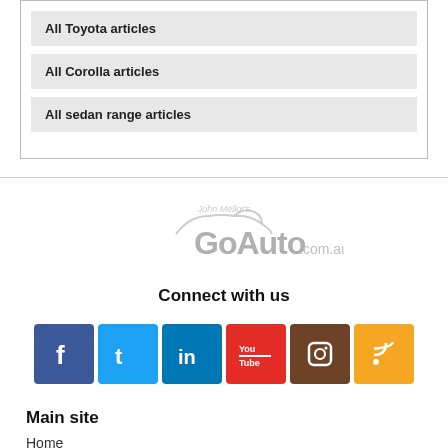All Toyota articles
All Corolla articles
All sedan range articles
[Figure (logo): GoAuto.com.au logo with car silhouette and 'John Mellor's' text]
Connect with us
[Figure (infographic): Social media icons: Facebook, Twitter, LinkedIn, YouTube, Instagram, RSS]
Main site
Home
Latest coverage
Car reviews
Car Videos